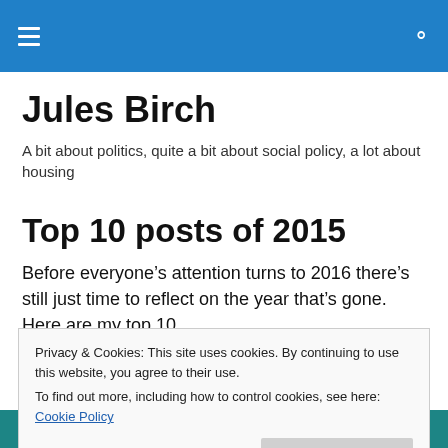Navigation bar with hamburger menu and search icon
Jules Birch
A bit about politics, quite a bit about social policy, a lot about housing
Top 10 posts of 2015
Before everyone’s attention turns to 2016 there’s still just time to reflect on the year that’s gone. Here are my top 10
Privacy & Cookies: This site uses cookies. By continuing to use this website, you agree to their use.
To find out more, including how to control cookies, see here: Cookie Policy
[Figure (illustration): Decorative teal/dark green fireworks illustration at the bottom of the page]